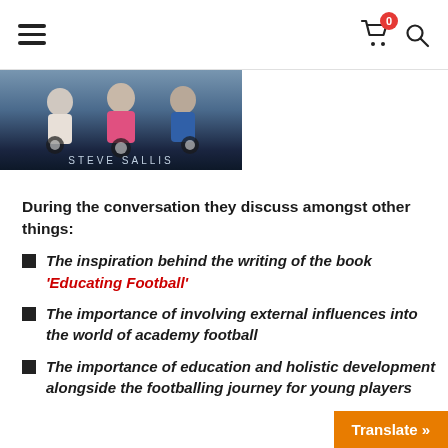Navigation bar with hamburger menu, cart icon (badge: 0), and search icon
[Figure (photo): Book cover photo showing children sitting with footballs, text 'STEVE SALLIS' visible at bottom]
During the conversation they discuss amongst other things:
The inspiration behind the writing of the book 'Educating Football'
The importance of involving external influences into the world of academy football
The importance of education and holistic development alongside the footballing journey for young players